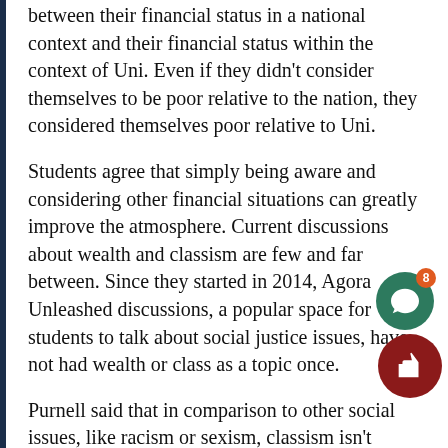between their financial status in a national context and their financial status within the context of Uni. Even if they didn't consider themselves to be poor relative to the nation, they considered themselves poor relative to Uni.
Students agree that simply being aware and considering other financial situations can greatly improve the atmosphere. Current discussions about wealth and classism are few and far between. Since they started in 2014, Agora Unleashed discussions, a popular space for students to talk about social justice issues, have not had wealth or class as a topic once.
Purnell said that in comparison to other social issues, like racism or sexism, classism isn't discussed at Uni. He believed that this is in par because discussing income is considered “tacky